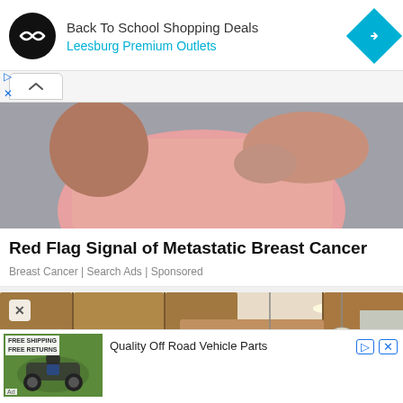[Figure (screenshot): Top advertisement banner for Back To School Shopping Deals at Leesburg Premium Outlets with black circular logo and cyan navigation diamond icon]
Back To School Shopping Deals
Leesburg Premium Outlets
[Figure (screenshot): Scroll-up UI tab with caret arrow]
[Figure (photo): Woman in pink clothing performing breast self-examination against gray background]
Red Flag Signal of Metastatic Breast Cancer
Breast Cancer | Search Ads | Sponsored
[Figure (photo): Kitchen interior with wooden cabinets and pendant lighting]
[Figure (screenshot): Bottom advertisement for Quality Off Road Vehicle Parts with FREE SHIPPING FREE RETURNS banner and ATV photo]